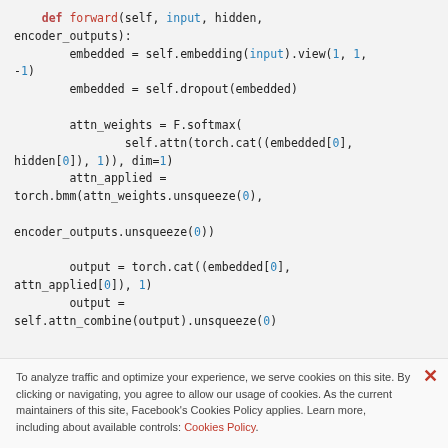def forward(self, input, hidden, encoder_outputs):
        embedded = self.embedding(input).view(1, 1, -1)
        embedded = self.dropout(embedded)

        attn_weights = F.softmax(
                self.attn(torch.cat((embedded[0], hidden[0]), 1)), dim=1)
        attn_applied = torch.bmm(attn_weights.unsqueeze(0),

encoder_outputs.unsqueeze(0))

        output = torch.cat((embedded[0], attn_applied[0]), 1)
        output = self.attn_combine(output).unsqueeze(0)
To analyze traffic and optimize your experience, we serve cookies on this site. By clicking or navigating, you agree to allow our usage of cookies. As the current maintainers of this site, Facebook's Cookies Policy applies. Learn more, including about available controls: Cookies Policy.